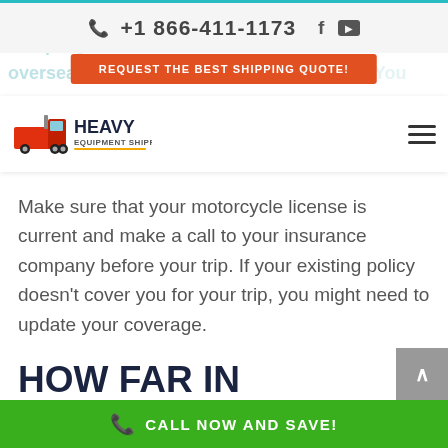+1 866-411-1173
REQUEST THE BEST SHIPPING QUOTE!
[Figure (logo): Heavy Equipment Shipper logo with red truck and yellow/orange gradient text]
Make sure that your motorcycle license is current and make a call to your insurance company before your trip. If your existing policy doesn't cover you for your trip, you might need to update your coverage.
HOW FAR IN ADVANCE SHOULD I SCHEDULE A
CALL NOW AND SAVE!